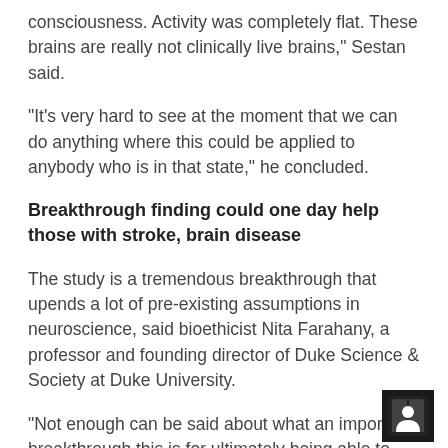consciousness. Activity was completely flat. These brains are really not clinically live brains," Sestan said.
"It's very hard to see at the moment that we can do anything where this could be applied to anybody who is in that state," he concluded.
Breakthrough finding could one day help those with stroke, brain disease
The study is a tremendous breakthrough that upends a lot of pre-existing assumptions in neuroscience, said bioethicist Nita Farahany, a professor and founding director of Duke Science & Society at Duke University.
"Not enough can be said about what an important breakthrough this is for ultimately being able to alleviate the tremendous amount of human suffering that occurs as a result of brain disease," Farahany said.
The study opens the door for "a much better model for